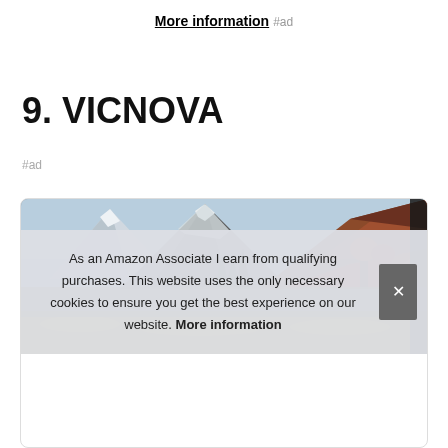More information #ad
9. VICNOVA
#ad
[Figure (photo): Mountain landscape photo showing snow-capped peaks with orange and red autumn foliage in the foreground, displayed inside a product card]
As an Amazon Associate I earn from qualifying purchases. This website uses the only necessary cookies to ensure you get the best experience on our website. More information